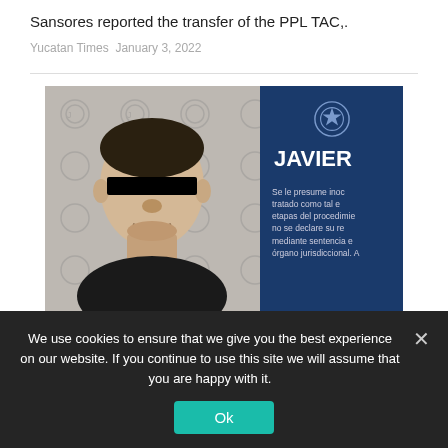Sansores reported the transfer of the PPL TAC,.
Yucatan Times  January 3, 2022
[Figure (photo): Mugshot-style arrest photo of a man with a black bar covering his eyes, standing against a branded police backdrop. Right half shows a dark blue panel with the name JAVIER and Spanish legal text stating the person is presumed innocent.]
We use cookies to ensure that we give you the best experience on our website. If you continue to use this site we will assume that you are happy with it.